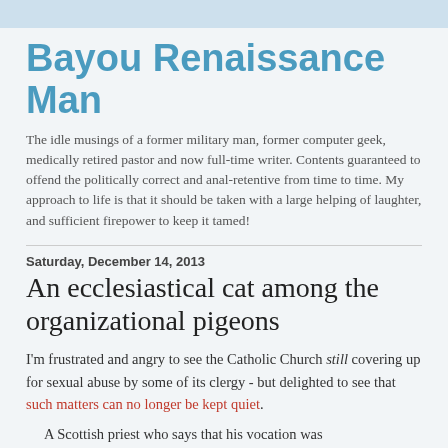Bayou Renaissance Man
The idle musings of a former military man, former computer geek, medically retired pastor and now full-time writer. Contents guaranteed to offend the politically correct and anal-retentive from time to time. My approach to life is that it should be taken with a large helping of laughter, and sufficient firepower to keep it tamed!
Saturday, December 14, 2013
An ecclesiastical cat among the organizational pigeons
I'm frustrated and angry to see the Catholic Church still covering up for sexual abuse by some of its clergy - but delighted to see that such matters can no longer be kept quiet.
A Scottish priest who says that his vocation was...